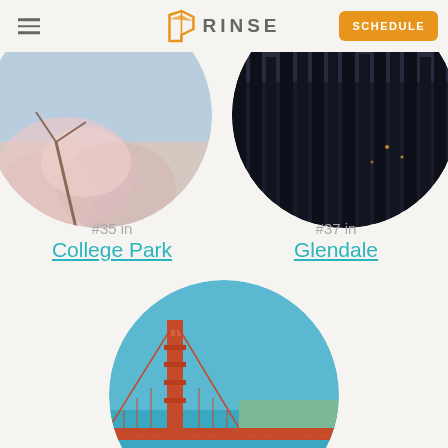Rinse - Schedule
[Figure (photo): Circular photo of cherry blossoms against a sky background for College Park]
[Figure (photo): Circular dark photo of trees/forest at night for Glendale]
#35 in College Park
#37 in Glendale
[Figure (photo): Circular photo of the Golden Gate Bridge spanning turquoise water]